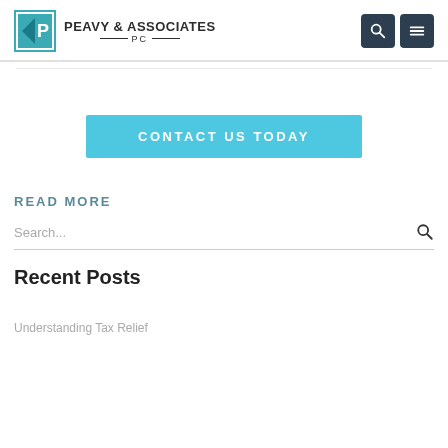PEAVY & ASSOCIATES PC
[Figure (logo): Peavy & Associates PC logo with teal P icon and company name]
CONTACT US TODAY
READ MORE
Search...
Recent Posts
Understanding Tax Relief